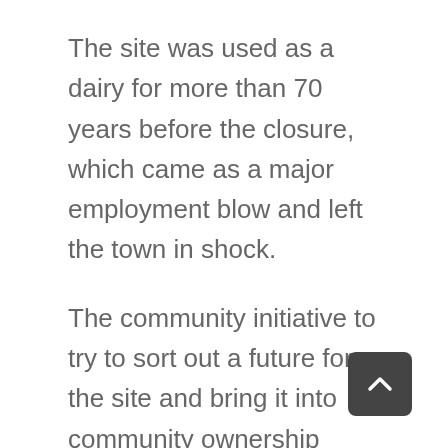The site was used as a dairy for more than 70 years before the closure, which came as a major employment blow and left the town in shock.
The community initiative to try to sort out a future for the site and bring it into community ownership began just two months after the closure. Six months later the Atmos Project was born.
A Heads of Terms agreement between the Totnes Community Development Society and Dairy Crest was signed in June last year to